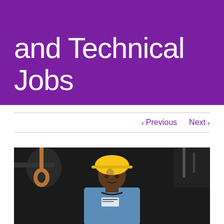and Technical Jobs
< Previous   Next >
[Figure (photo): A Black woman wearing a yellow hard hat and blue work uniform, standing in front of industrial machinery with copper pipes and dark metallic equipment. She has safety glasses hanging around her neck and a name badge on her shirt. She appears to be a skilled trades or technical worker.]